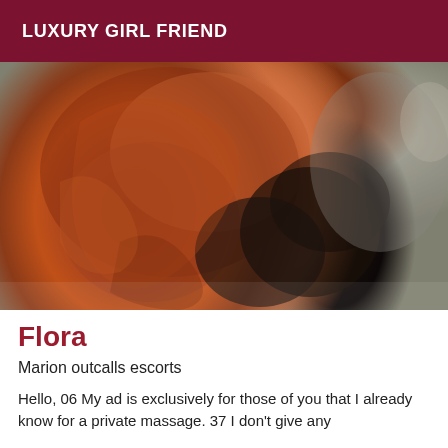LUXURY GIRL FRIEND
[Figure (photo): Close-up photo of a woman with long auburn/red curly hair, head bowed forward, wearing a dark navy jacket. Hair is prominently displayed filling most of the frame.]
Flora
Marion outcalls escorts
Hello, 06 My ad is exclusively for those of you that I already know for a private massage. 37 I don't give any